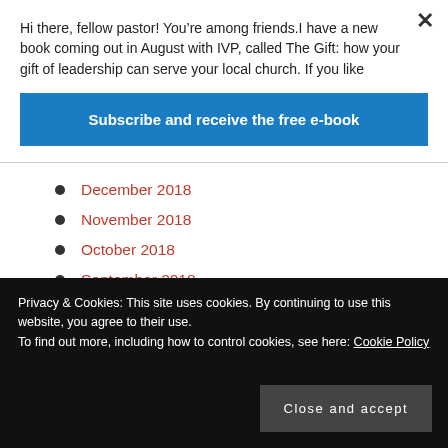Hi there, fellow pastor! You’re among friends.I have a new book coming out in August with IVP, called The Gift: how your gift of leadership can serve your local church. If you like
Subscribe and receive the free e-book
December 2018
November 2018
October 2018
September 2018
August 2018
July 2018
Privacy & Cookies: This site uses cookies. By continuing to use this website, you agree to their use.
To find out more, including how to control cookies, see here: Cookie Policy
Close and accept
February 2018